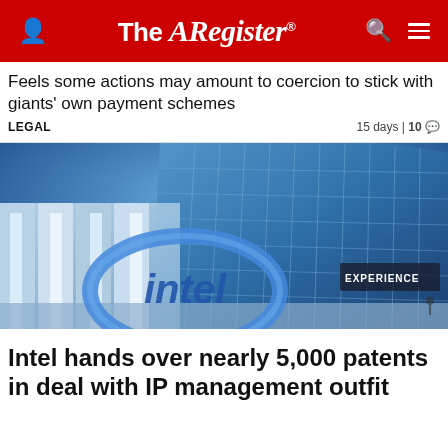The Register
Feels some actions may amount to coercion to stick with giants' own payment schemes
LEGAL   15 days | 10
[Figure (photo): Fisheye view of Intel headquarters building exterior with large Intel logo and 'EXPERIENCE' signage, glass curtain wall building in background against blue sky]
Intel hands over nearly 5,000 patents in deal with IP management outfit